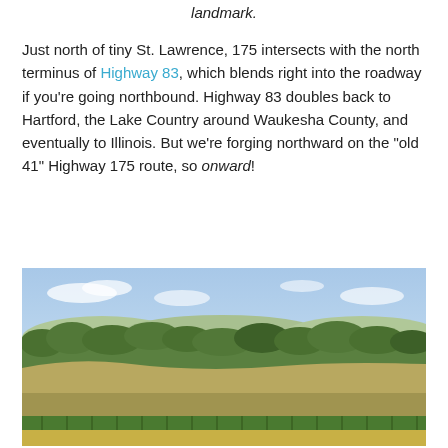landmark.
Just north of tiny St. Lawrence, 175 intersects with the north terminus of Highway 83, which blends right into the roadway if you're going northbound. Highway 83 doubles back to Hartford, the Lake Country around Waukesha County, and eventually to Illinois. But we're forging northward on the “old 41” Highway 175 route, so onward!
[Figure (photo): A rural landscape photo showing rolling hills, farmland with cornfields in the foreground, a tree line in the middle distance, and a light blue sky with scattered clouds in the background.]